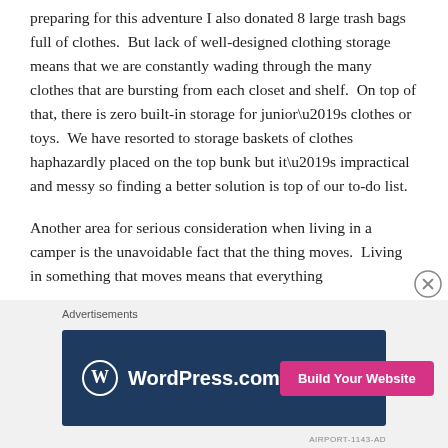preparing for this adventure I also donated 8 large trash bags full of clothes.  But lack of well-designed clothing storage means that we are constantly wading through the many clothes that are bursting from each closet and shelf.  On top of that, there is zero built-in storage for junior’s clothes or toys.  We have resorted to storage baskets of clothes haphazardly placed on the top bunk but it’s impractical and messy so finding a better solution is top of our to-do list.
Another area for serious consideration when living in a camper is the unavoidable fact that the thing moves.  Living in something that moves means that everything
[Figure (other): WordPress.com advertisement banner with logo on dark blue background and pink 'Build Your Website' button]